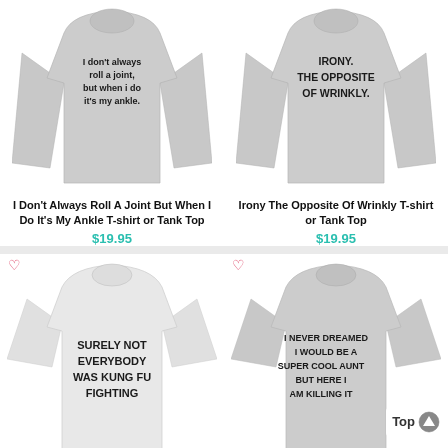[Figure (photo): Gray long-sleeve t-shirt with text: I don't always roll a joint, but when i do it's my ankle.]
[Figure (photo): Gray long-sleeve t-shirt with text: IRONY. THE OPPOSITE OF WRINKLY.]
I Don't Always Roll A Joint But When I Do It's My Ankle T-shirt or Tank Top
$19.95
Irony The Opposite Of Wrinkly T-shirt or Tank Top
$19.95
[Figure (photo): White/light gray t-shirt with text: SURELY NOT EVERYBODY WAS KUNG FU FIGHTING]
[Figure (photo): Gray t-shirt with text: I NEVER DREAMED I WOULD BE A SUPER COOL AUNT BUT HERE I AM KILLING IT]